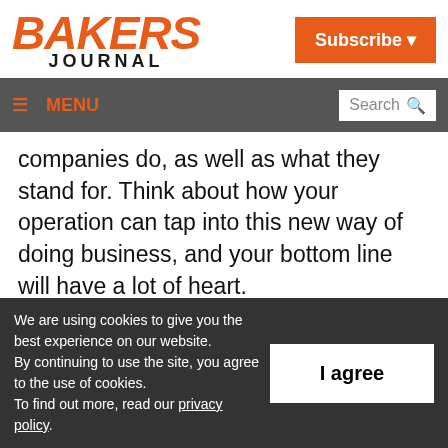BAKERS JOURNAL
Subscribe
≡ MENU  Search
companies do, as well as what they stand for. Think about how your operation can tap into this new way of doing business, and your bottom line will have a lot of heart.
Michelle Brisebois is a marketing professional
We are using cookies to give you the best experience on our website. By continuing to use the site, you agree to the use of cookies. To find out more, read our privacy policy.